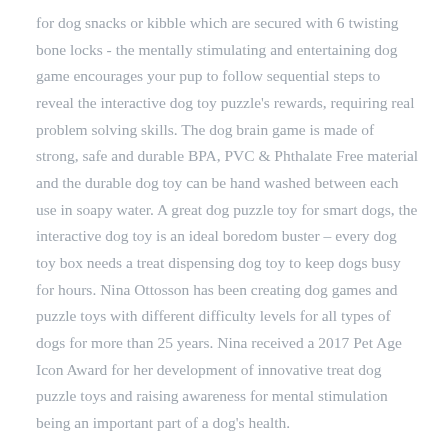for dog snacks or kibble which are secured with 6 twisting bone locks - the mentally stimulating and entertaining dog game encourages your pup to follow sequential steps to reveal the interactive dog toy puzzle's rewards, requiring real problem solving skills. The dog brain game is made of strong, safe and durable BPA, PVC & Phthalate Free material and the durable dog toy can be hand washed between each use in soapy water. A great dog puzzle toy for smart dogs, the interactive dog toy is an ideal boredom buster – every dog toy box needs a treat dispensing dog toy to keep dogs busy for hours. Nina Ottosson has been creating dog games and puzzle toys with different difficulty levels for all types of dogs for more than 25 years. Nina received a 2017 Pet Age Icon Award for her development of innovative treat dog puzzle toys and raising awareness for mental stimulation being an important part of a dog's health.